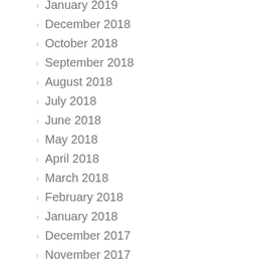January 2019
December 2018
October 2018
September 2018
August 2018
July 2018
June 2018
May 2018
April 2018
March 2018
February 2018
January 2018
December 2017
November 2017
October 2017
September 2017
August 2017
May 2017
April 2017